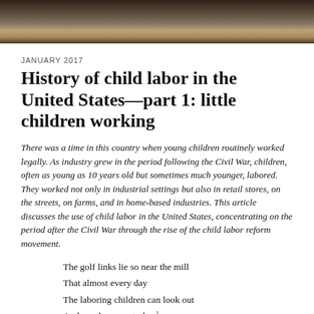[Figure (photo): Sepia-toned historical photograph of children, used as a banner image at the top of the page]
JANUARY 2017
History of child labor in the United States—part 1: little children working
There was a time in this country when young children routinely worked legally. As industry grew in the period following the Civil War, children, often as young as 10 years old but sometimes much younger, labored. They worked not only in industrial settings but also in retail stores, on the streets, on farms, and in home-based industries. This article discusses the use of child labor in the United States, concentrating on the period after the Civil War through the rise of the child labor reform movement.
The golf links lie so near the mill
That almost every day
The laboring children can look out
And see the men at play.1
—Sarah N. Cleghorn